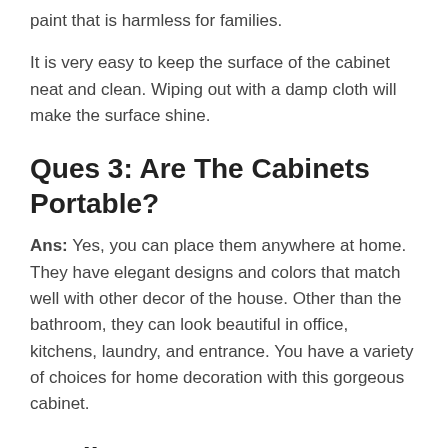paint that is harmless for families.
It is very easy to keep the surface of the cabinet neat and clean. Wiping out with a damp cloth will make the surface shine.
Ques 3: Are The Cabinets Portable?
Ans: Yes, you can place them anywhere at home. They have elegant designs and colors that match well with other decor of the house. Other than the bathroom, they can look beautiful in office, kitchens, laundry, and entrance. You have a variety of choices for home decoration with this gorgeous cabinet.
Verdict